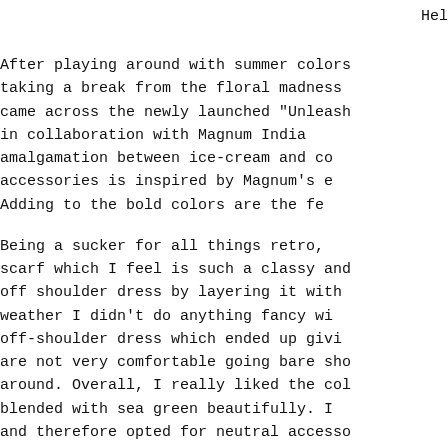Hel
After playing around with summer colors taking a break from the floral madness came across the newly launched "Unleash in collaboration with Magnum India amalgamation between ice-cream and co accessories is inspired by Magnum's e Adding to the bold colors are the fe
Being a sucker for all things retro, scarf which I feel is such a classy and off shoulder dress by layering it with weather I didn't do anything fancy wi off-shoulder dress which ended up givi are not very comfortable going bare sho around. Overall, I really liked the col blended with sea green beautifully. I and therefore opted for neutral accesso